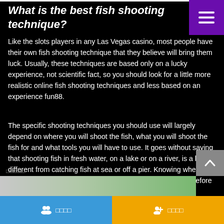What is the best fish shooting technique?
Like the slots players in any Las Vegas casino, most people have their own fish shooting technique that they believe will bring them luck. Usually, these techniques are based only on a lucky experience, not scientific fact, so you should look for a little more realistic online fish shooting techniques and less based on an experience fun88.
The specific shooting techniques you should use will largely depend on where you will shoot the fish, what you will shoot the fish for and what tools you will have to use. It goes without saying that shooting fish in fresh water, on a lake or on a river, is a lot different from catching fish at sea or off a pier. Knowing where and what you are going to shoot fish for is extremely important before you start buying new bait, hook, bait or rod and reel fun88.
□□□□□
[Figure (photo): Partial image strip at the bottom showing green foliage]
□□□□□□   □□□□□□